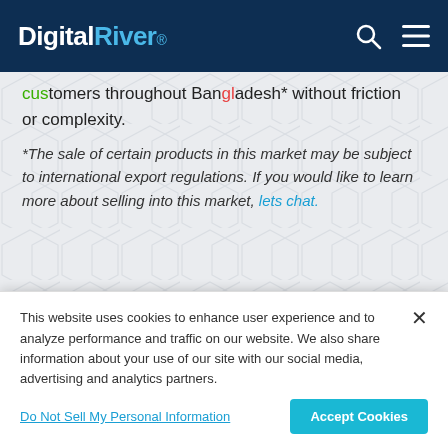Digital River®
customers throughout Bangladesh* without friction or complexity.
*The sale of certain products in this market may be subject to international export regulations. If you would like to learn more about selling into this market, lets chat.
Why Sell Into Bangladesh?
This website uses cookies to enhance user experience and to analyze performance and traffic on our website. We also share information about your use of our site with our social media, advertising and analytics partners.